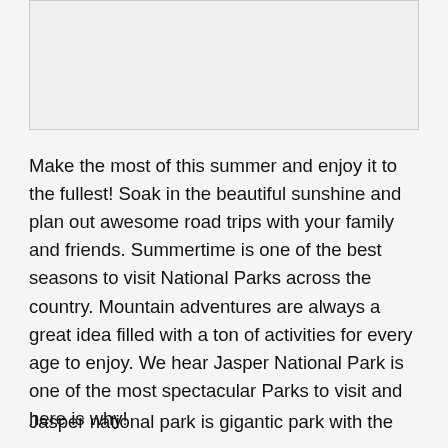[Figure (other): Blank/placeholder image box at top of page]
Make the most of this summer and enjoy it to the fullest! Soak in the beautiful sunshine and plan out awesome road trips with your family and friends. Summertime is one of the best seasons to visit National Parks across the country. Mountain adventures are always a great idea filled with a ton of activities for every age to enjoy. We hear Jasper National Park is one of the most spectacular Parks to visit and here is why!
Jasper national park is gigantic park with the